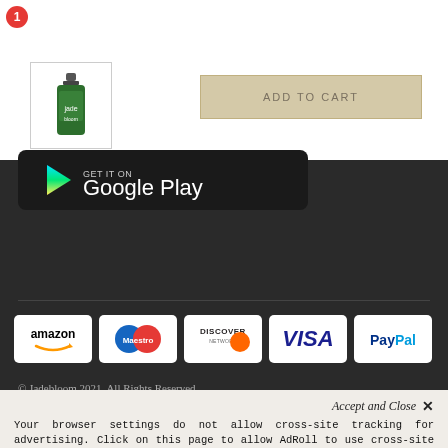[Figure (screenshot): Red circular badge with number 1]
[Figure (photo): Small product image of a green essential oil bottle in a white bordered thumbnail]
[Figure (other): ADD TO CART button with beige/tan background]
[Figure (logo): Google Play store badge on dark background]
[Figure (infographic): Payment method logos: amazon, Maestro, Discover Network, VISA, PayPal on dark background]
© Jadebloom 2021. All Rights Reserved
Accept and Close ✕
Your browser settings do not allow cross-site tracking for advertising. Click on this page to allow AdRoll to use cross-site tracking to tailor ads to you. Learn more or opt out of this AdRoll tracking by clicking here. This message only appears once.